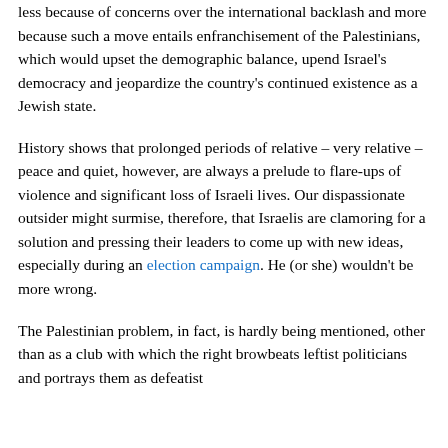less because of concerns over the international backlash and more because such a move entails enfranchisement of the Palestinians, which would upset the demographic balance, upend Israel's democracy and jeopardize the country's continued existence as a Jewish state.
History shows that prolonged periods of relative – very relative – peace and quiet, however, are always a prelude to flare-ups of violence and significant loss of Israeli lives. Our dispassionate outsider might surmise, therefore, that Israelis are clamoring for a solution and pressing their leaders to come up with new ideas, especially during an election campaign. He (or she) wouldn't be more wrong.
The Palestinian problem, in fact, is hardly being mentioned, other than as a club with which the right browbeats leftist politicians and portrays them as defeatist and bourgeois elites. Politicians, aware of...